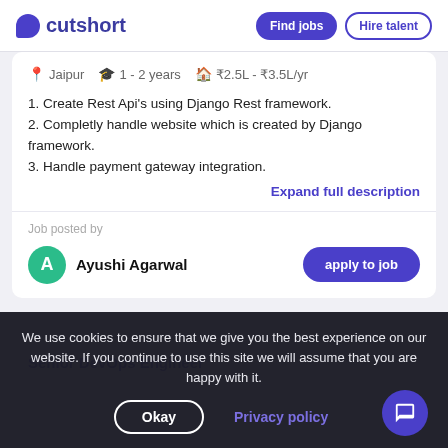cutshort | Find jobs | Hire talent
Jaipur  1 - 2 years  ₹2.5L - ₹3.5L/yr
1. Create Rest Api's using Django Rest framework.
2. Completly handle website which is created by Django framework.
3. Handle payment gateway integration.
Expand full description
Job posted by
Ayushi Agarwal
apply to job
Senior DevOps Engineer
We use cookies to ensure that we give you the best experience on our website. If you continue to use this site we will assume that you are happy with it.
Okay
Privacy policy